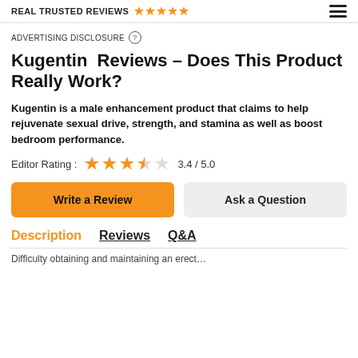REAL TRUSTED REVIEWS ★★★★★
ADVERTISING DISCLOSURE ?
Kugentin Reviews – Does This Product Really Work?
Kugentin is a male enhancement product that claims to help rejuvenate sexual drive, strength, and stamina as well as boost bedroom performance.
Editor Rating : 3.4 / 5.0
Write a Review | Ask a Question
Description | Reviews | Q&A
Difficulty obtaining and maintaining an erect...